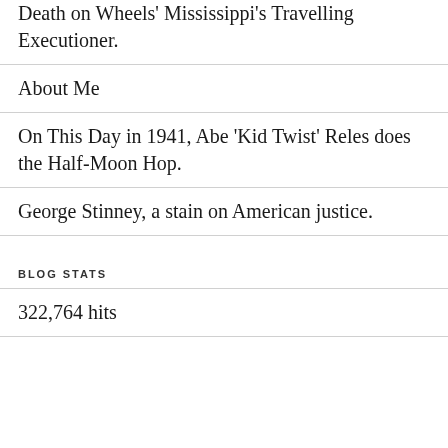Death on Wheels' Mississippi's Travelling Executioner.
About Me
On This Day in 1941, Abe 'Kid Twist' Reles does the Half-Moon Hop.
George Stinney, a stain on American justice.
BLOG STATS
322,764 hits